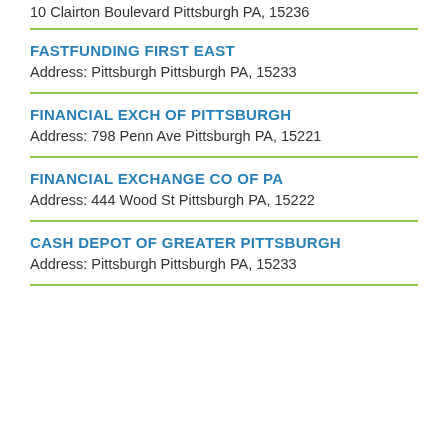10 Clairton Boulevard Pittsburgh PA, 15236
FASTFUNDING FIRST EAST
Address: Pittsburgh Pittsburgh PA, 15233
FINANCIAL EXCH OF PITTSBURGH
Address: 798 Penn Ave Pittsburgh PA, 15221
FINANCIAL EXCHANGE CO OF PA
Address: 444 Wood St Pittsburgh PA, 15222
CASH DEPOT OF GREATER PITTSBURGH
Address: Pittsburgh Pittsburgh PA, 15233